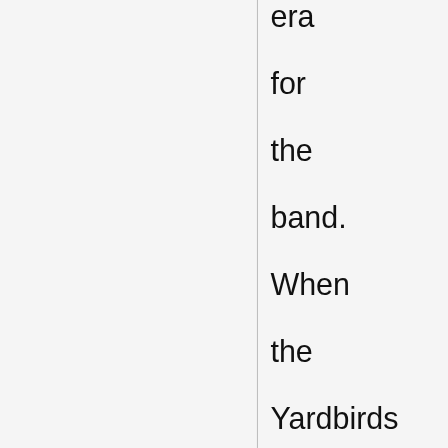era for the band. When the Yardbirds finally ended their existence as a band in